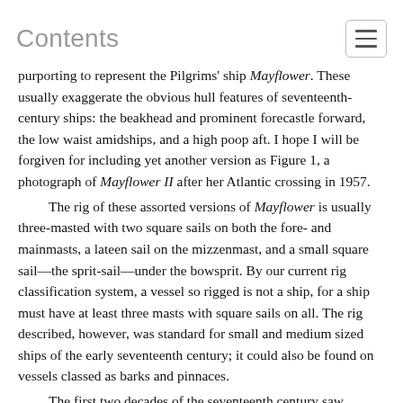Contents
purporting to represent the Pilgrims' ship Mayflower. These usually exaggerate the obvious hull features of seventeenth-century ships: the beakhead and prominent forecastle forward, the low waist amidships, and a high poop aft. I hope I will be forgiven for including yet another version as Figure 1, a photograph of Mayflower II after her Atlantic crossing in 1957.

The rig of these assorted versions of Mayflower is usually three-masted with two square sails on both the fore- and mainmasts, a lateen sail on the mizzenmast, and a small square sail—the sprit-sail—under the bowsprit. By our current rig classification system, a vessel so rigged is not a ship, for a ship must have at least three masts with square sails on all. The rig described, however, was standard for small and medium sized ships of the early seventeenth century; it could also be found on vessels classed as barks and pinnaces.

The first two decades of the seventeenth century saw